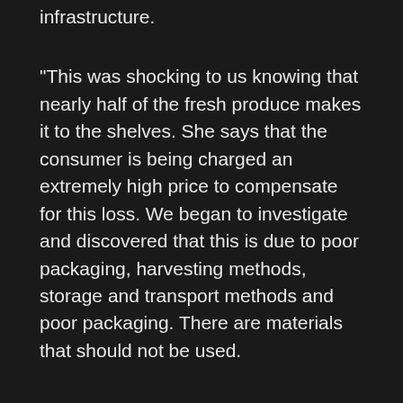infrastructure.
“This was shocking to us knowing that nearly half of the fresh produce makes it to the shelves. She says that the consumer is being charged an extremely high price to compensate for this loss. We began to investigate and discovered that this is due to poor packaging, harvesting methods, storage and transport methods and poor packaging. There are materials that should not be used.
To help address the food loss issue at its core, the startup aims to serve farmers’ needs throughout the agricultural production stages, having closely witnessed challenges faced by farmers during and post-harvest phases.
FreshSource gives medium- to large-scale farmers an opportunity to get into contract farming. This will allow them to have adequate access to financing and farm input products. FreshSource purchases fresh produce directly from